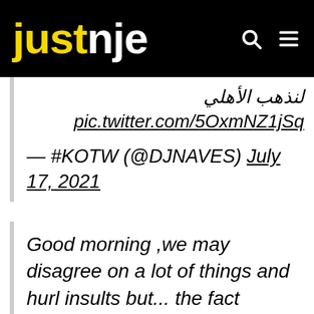justnje
لنذهب الأهلي
pic.twitter.com/5OxmNZ1jSq
— #KOTW (@DJNAVES) July 17, 2021
Good morning ,we may disagree on a lot of things and hurl insults but... the fact remains… Pitso is a South